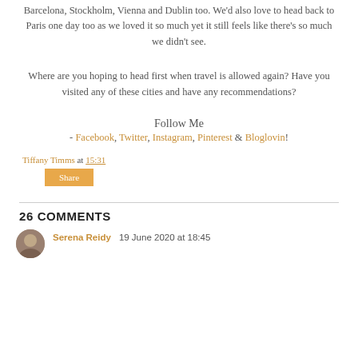Barcelona, Stockholm, Vienna and Dublin too. We'd also love to head back to Paris one day too as we loved it so much yet it still feels like there's so much we didn't see.
Where are you hoping to head first when travel is allowed again? Have you visited any of these cities and have any recommendations?
Follow Me
- Facebook, Twitter, Instagram, Pinterest & Bloglovin!
Tiffany Timms at 15:31
Share
26 COMMENTS
Serena Reidy 19 June 2020 at 18:45